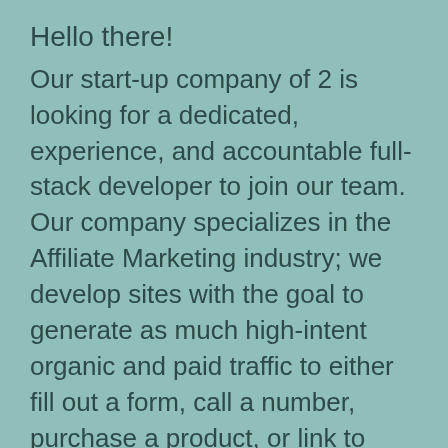Hello there!
Our start-up company of 2 is looking for a dedicated, experience, and accountable full-stack developer to join our team. Our company specializes in the Affiliate Marketing industry; we develop sites with the goal to generate as much high-intent organic and paid traffic to either fill out a form, call a number, purchase a product, or link to other sites. Some verticals we work in are Health Insurance, Auto Insurance, Solar, &amp; Debt; and more in the future.
We are highly motivated with a clear vision for the company (we both had prior experience)